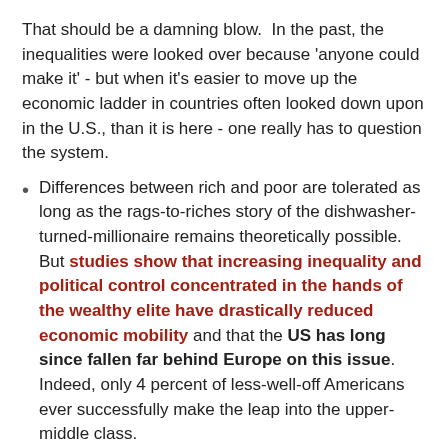That should be a damning blow. In the past, the inequalities were looked over because 'anyone could make it' - but when it's easier to move up the economic ladder in countries often looked down upon in the U.S., than it is here - one really has to question the system.
Differences between rich and poor are tolerated as long as the rags-to-riches story of the dishwasher-turned-millionaire remains theoretically possible. But studies show that increasing inequality and political control concentrated in the hands of the wealthy elite have drastically reduced economic mobility and that the US has long since fallen far behind Europe on this issue. Indeed, only 4 percent of less-well-off Americans ever successfully make the leap into the upper-middle class.
"The major difference between this Gilded Age and the last one is the relative absence of protest," historian Gary Gerstle told the online